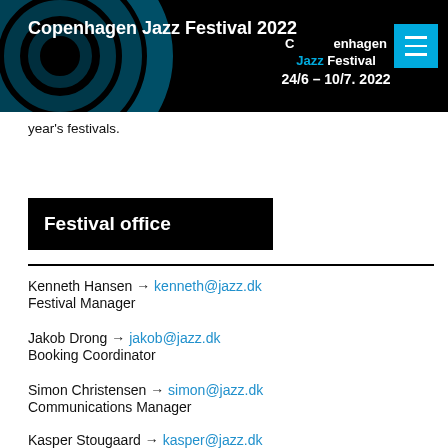Copenhagen Jazz Festival 2022 | Copenhagen Jazz Festival 24/6 – 10/7. 2022
year's festivals.
Festival office
Kenneth Hansen → kenneth@jazz.dk
Festival Manager
Jakob Drong → jakob@jazz.dk
Booking Coordinator
Simon Christensen → simon@jazz.dk
Communications Manager
Kasper Stougaard → kasper@jazz.dk
Communications Officer